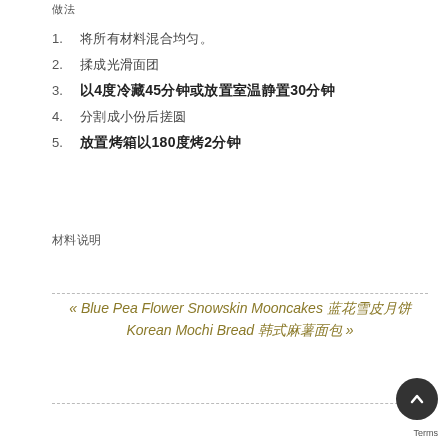做法
1. 将所有材料混合均匀。
2. 揉成光滑面团
3. 以4度冷藏45分钟或放置室温静置30分钟
4. 分割成小份后搓圆
5. 放置烤箱以180度烤2分钟
材料说明
« Blue Pea Flower Snowskin Mooncakes 蓝花雪皮月饼
Korean Mochi Bread 韩式麻薯面包 »